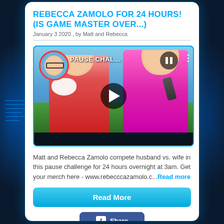REBECCA ZAMOLO FOR 24 HOURS! (IS GAME MASTER OVER...)
January 3 2020 , by Matt and Rebecca
[Figure (screenshot): YouTube video thumbnail showing Matt and Rebecca Zamolo in a pause challenge video. Matt is wearing a red shirt with shaving cream on his face holding a razor. Rebecca is wearing a pink/magenta shirt holding a remote control. Video title shows 'PAUSE CHAL...' with a pause icon overlay and a play button in the center. A circular avatar of a man with glasses appears in the top left corner.]
Matt and Rebecca Zamolo compete husband vs. wife in this pause challenge for 24 hours overnight at 3am. Get your merch here - www.rebecccazamolo.c...Read more
Read More
Share